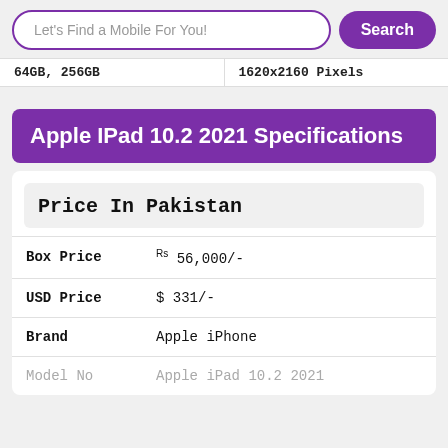Let's Find a Mobile For You! Search
64GB, 256GB  1620x2160 Pixels
Apple IPad 10.2 2021 Specifications
| Field | Value |
| --- | --- |
| Price In Pakistan |  |
| Box Price | Rs 56,000/- |
| USD Price | $ 331/- |
| Brand | Apple iPhone |
| Model No | Apple iPad 10.2 2021 |